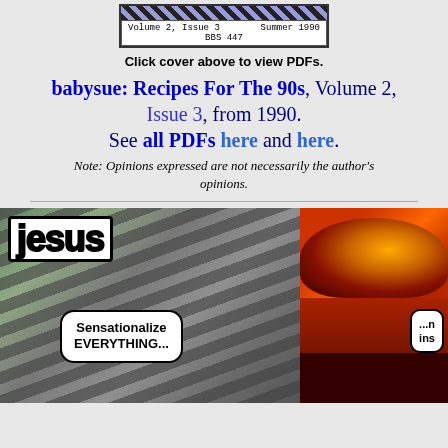[Figure (illustration): Magazine cover thumbnail showing 'Volume 2, Issue 3  Summer 1990  BBS 447' with pink background and diagonal stripe pattern at top]
Click cover above to view PDFs.
babysue: Recipes For The 90s, Volume 2, Issue 3, from 1990. See all PDFs here and here.
Note: Opinions expressed are not necessarily the author's opinions.
[Figure (illustration): Comic panel split in two. Left side: 'Jesus' text in bold stylized letters over venetian blinds background with speech bubble saying 'Sensationalize EVERYTHING...' Right side: close-up of a red-toned face with speech bubble showing '...n ins']